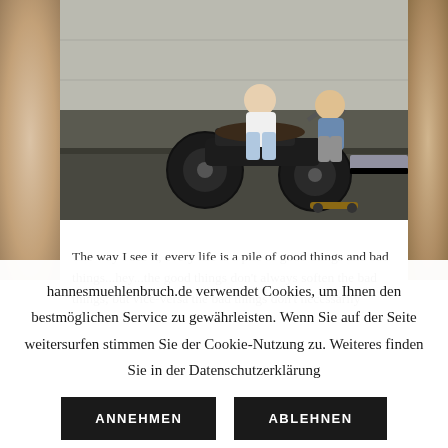[Figure (photo): Two young people on a motorcycle and skateboard on a street, with a concrete wall in the background. The rider is on a vintage-style black motorcycle and a person is skateboarding alongside.]
The way I see it, every life is a pile of good things and bad things...hey...the good things don't always soften the bad things; but vice-versa the bad things don't necessarily
hannesmuehlenbruch.de verwendet Cookies, um Ihnen den bestmöglichen Service zu gewährleisten. Wenn Sie auf der Seite weitersurfen stimmen Sie der Cookie-Nutzung zu. Weiteres finden Sie in der Datenschutzerklärung
ANNEHMEN
ABLEHNEN